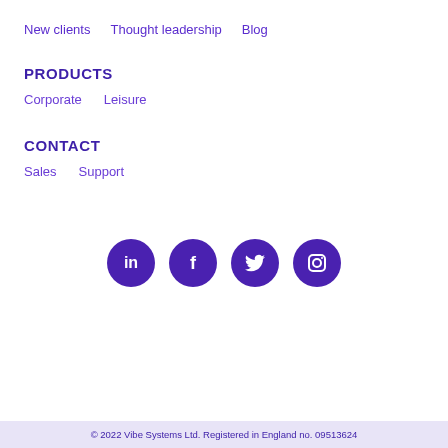New clients   Thought leadership   Blog
PRODUCTS
Corporate   Leisure
CONTACT
Sales   Support
[Figure (illustration): Four purple social media icon circles: LinkedIn, Facebook, Twitter, Instagram]
© 2022 Vibe Systems Ltd. Registered in England no. 09513624